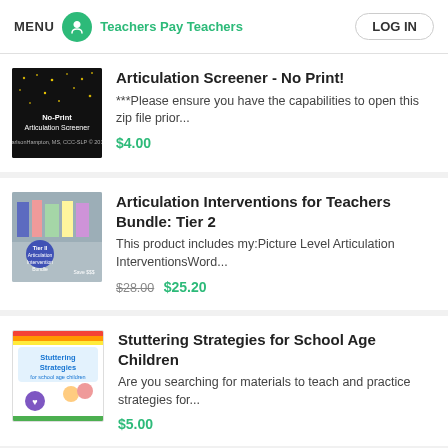MENU  Teachers Pay Teachers  LOG IN
[Figure (screenshot): No-Print Articulation Screener product thumbnail - dark background with star dots]
Articulation Screener - No Print!
***Please ensure you have the capabilities to open this zip file prior...
$4.00
[Figure (screenshot): Tier II Articulation Intervention Bundle product thumbnail]
Articulation Interventions for Teachers Bundle: Tier 2
This product includes my:Picture Level Articulation InterventionsWord...
$28.00 $25.20
[Figure (screenshot): Stuttering Strategies for School Age Children product thumbnail]
Stuttering Strategies for School Age Children
Are you searching for materials to teach and practice strategies for...
$5.00
[Figure (screenshot): Irregular Plural Noun Bingo product thumbnail - green and red with BINGO text]
Irregular Plural Noun Bingo
Target those tricky irregular plural nouns while